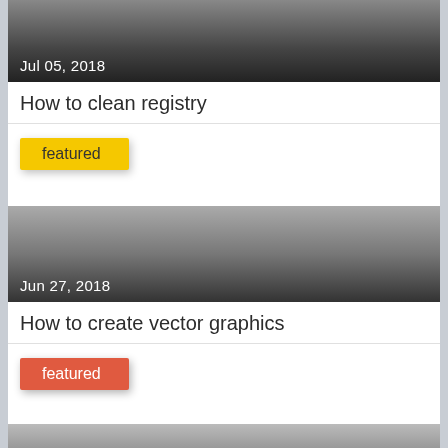[Figure (photo): Thumbnail image with dark gradient overlay showing date 'Jul 05, 2018' at bottom left]
How to clean registry
featured
[Figure (photo): Thumbnail image with dark gradient overlay showing date 'Jun 27, 2018' at bottom left]
How to create vector graphics
featured
[Figure (photo): Partial thumbnail image at bottom of page with gradient]